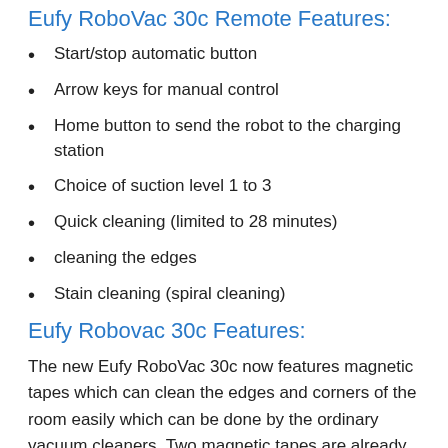Eufy RoboVac 30c Remote Features:
Start/stop automatic button
Arrow keys for manual control
Home button to send the robot to the charging station
Choice of suction level 1 to 3
Quick cleaning (limited to 28 minutes)
cleaning the edges
Stain cleaning (spiral cleaning)
Eufy Robovac 30c Features:
The new Eufy RoboVac 30c now features magnetic tapes which can clean the edges and corners of the room easily which can be done by the ordinary vacuum cleaners. Two magnetic tapes are already included. It comes with the three levels of suction power which mean that the first level of suction can be used for the daily base cleaning the second level